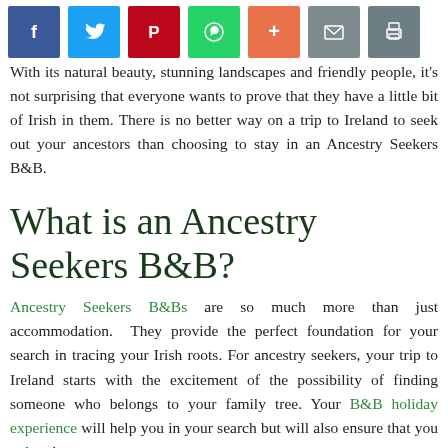[Figure (other): Row of social media share buttons: Facebook (blue), Twitter (light blue), Pinterest (red), WhatsApp (green), Plus/More (orange), Email (grey), Print (dark grey)]
With its natural beauty, stunning landscapes and friendly people, it's not surprising that everyone wants to prove that they have a little bit of Irish in them. There is no better way on a trip to Ireland to seek out your ancestors than choosing to stay in an Ancestry Seekers B&B.
What is an Ancestry Seekers B&B?
Ancestry Seekers B&Bs are so much more than just accommodation.  They provide the perfect foundation for your search in tracing your Irish roots. For ancestry seekers, your trip to Ireland starts with the excitement of the possibility of finding someone who belongs to your family tree. Your B&B holiday experience will help you in your search but will also ensure that you enjoy the